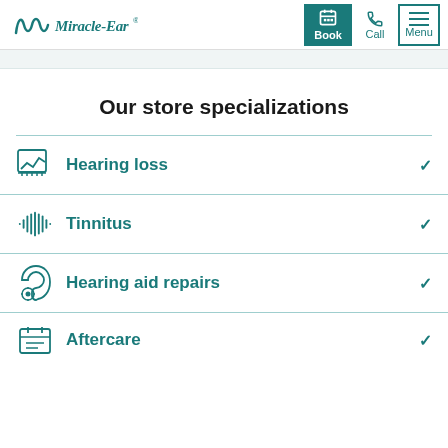Miracle-Ear — Book | Call | Menu
Our store specializations
Hearing loss
Tinnitus
Hearing aid repairs
Aftercare